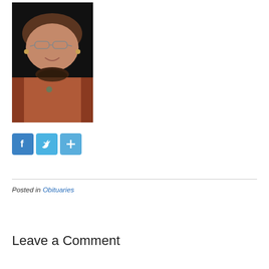[Figure (photo): Portrait photo of an older woman with glasses, wearing a brown/rust colored jacket with a dark patterned collar, smiling, against a dark background]
[Figure (other): Social media share buttons: Facebook (blue f icon), Twitter (blue bird icon), and a blue plus/share icon]
Posted in Obituaries
Leave a Comment